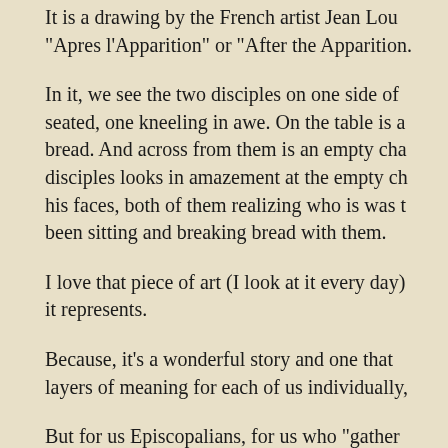It is a drawing by the French artist Jean Lou… “Apres l’Apparition” or “After the Apparition.…
In it, we see the two disciples on one side of… seated, one kneeling in awe. On the table is a… bread. And across from them is an empty cha… disciples looks in amazement at the empty ch… his faces, both of them realizing who is was t… been sitting and breaking bread with them.
I love that piece of art (I look at it every day)… it represents.
Because, it’s a wonderful story and one that… layers of meaning for each of us individually,…
But for us Episcopalians, for us who “gather…